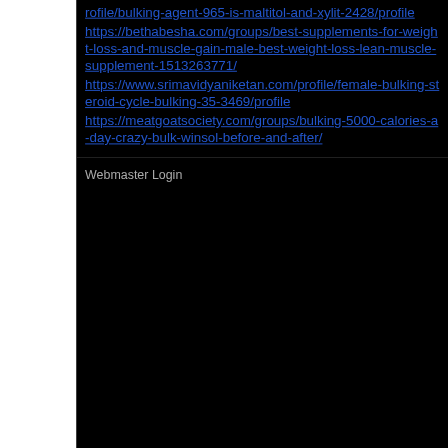rofile/bulking-agent-965-is-maltitol-and-xylit-2428/profile
https://bethabesha.com/groups/best-supplements-for-weight-loss-and-muscle-gain-male-best-weight-loss-lean-muscle-supplement-1513263771/
https://www.srimavidyaniketan.com/profile/female-bulking-steroid-cycle-bulking-35-3469/profile
https://meatgoatsociety.com/groups/bulking-5000-calories-a-day-crazy-bulk-winsol-before-and-after/
Webmaster Login